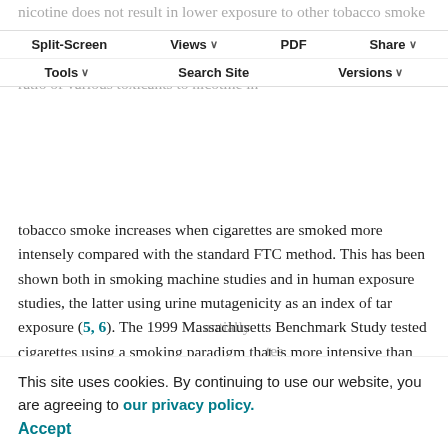nicotine does not result in lower exposure to other tobacco smoke toxicants can be explained by differences in how different cigarettes are smoked, as discussed recently by Harris (24). The ratio of various toxicants to nicotine in
Split-Screen | Views | PDF | Share | Tools | Search Site | Versions
tobacco smoke increases when cigarettes are smoked more intensely compared with the standard FTC method. This has been shown both in smoking machine studies and in human exposure studies, the latter using urine mutagenicity as an index of tar exposure (5, 6). The 1999 Massachusetts Benchmark Study tested cigarettes using a smoking paradigm that is more intensive than that used in the FTC method but closer to how cigarettes are actually smoked (24). Using this method, the ratio of a number of
This site uses cookies. By continuing to use our website, you are agreeing to our privacy policy. Accept
using data from the Massachusetts Benchmark Study,